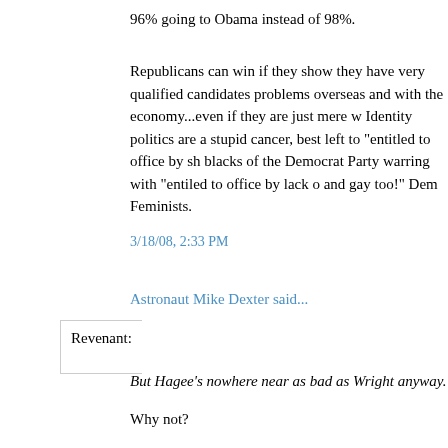96% going to Obama instead of 98%.
Republicans can win if they show they have very qualified candidates problems overseas and with the economy...even if they are just mere w Identity politics are a stupid cancer, best left to "entitled to office by sh blacks of the Democrat Party warring with "entiled to office by lack o and gay too!" Dem Feminists.
3/18/08, 2:33 PM
Astronaut Mike Dexter said...
Revenant:
But Hagee's nowhere near as bad as Wright anyway.
Why not?
By the way, there are a lot of folks on here who seem to believe that b are simply incapable of going to Rev. Wright's church and not agreein last thing he says. I wonder how many of them are Catholics who atte